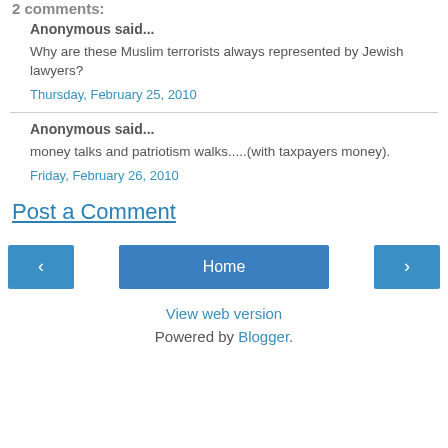2 comments:
Anonymous said...
Why are these Muslim terrorists always represented by Jewish lawyers?
Thursday, February 25, 2010
Anonymous said...
money talks and patriotism walks.....(with taxpayers money).
Friday, February 26, 2010
Post a Comment
Home
View web version
Powered by Blogger.